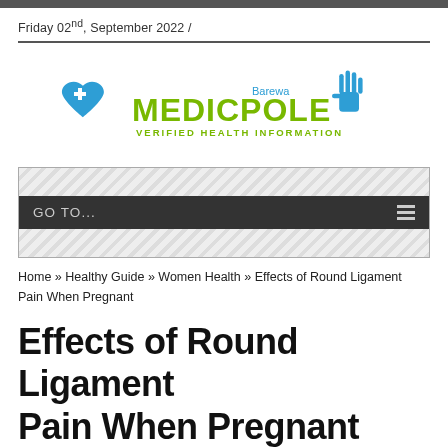Friday 02nd, September 2022 /
[Figure (logo): Barewa Medicpole logo with blue heart icon, green MEDICPOLE text, blue hand icon, and tagline VERIFIED HEALTH INFORMATION]
GO TO...
Home » Healthy Guide » Women Health » Effects of Round Ligament Pain When Pregnant
Effects of Round Ligament Pain When Pregnant